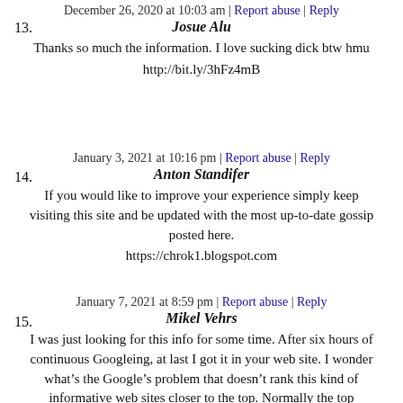December 26, 2020 at 10:03 am | Report abuse | Reply
13. Josue Alu
Thanks so much the information. I love sucking dick btw hmu
http://bit.ly/3hFz4mB
January 3, 2021 at 10:16 pm | Report abuse | Reply
14. Anton Standifer
If you would like to improve your experience simply keep visiting this site and be updated with the most up-to-date gossip posted here.
https://chrok1.blogspot.com
January 7, 2021 at 8:59 pm | Report abuse | Reply
15. Mikel Vehrs
I was just looking for this info for some time. After six hours of continuous Googleing, at last I got it in your web site. I wonder what’s the Google’s problem that doesn’t rank this kind of informative web sites closer to the top. Normally the top websites are full of garbage.